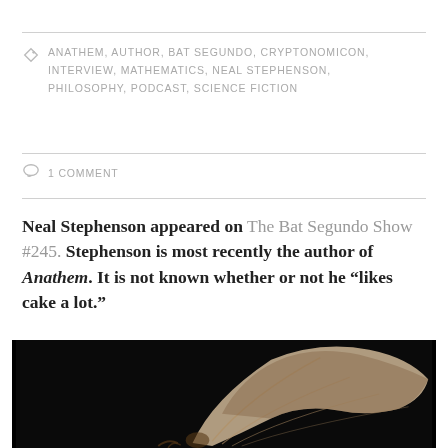ANATHEM, AUTHOR, BAT SEGUNDO, CRYPTONOMICON, INTERVIEW, MATHEMATICS, NEAL STEPHENSON, PHILOSOPHY, PODCAST, SCIENCE FICTION
1 COMMENT
Neal Stephenson appeared on The Bat Segundo Show #245. Stephenson is most recently the author of Anathem. It is not known whether or not he “likes cake a lot.”
[Figure (photo): A close-up photograph of a bat in flight against a black background, showing wing membrane detail.]